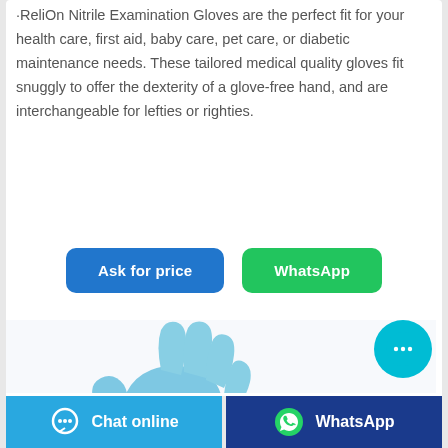·ReliOn Nitrile Examination Gloves are the perfect fit for your health care, first aid, baby care, pet care, or diabetic maintenance needs. These tailored medical quality gloves fit snuggly to offer the dexterity of a glove-free hand, and are interchangeable for lefties or righties.
[Figure (infographic): Two buttons: blue 'Ask for price' button and green 'WhatsApp' button]
[Figure (photo): A blue nitrile examination glove shown on a hand, with light blue color against white background]
[Figure (infographic): Cyan circular chat button with ellipsis icon (floating action button)]
[Figure (infographic): Footer bar with two sections: light blue 'Chat online' button with speech bubble icon on the left, and dark blue 'WhatsApp' button with WhatsApp logo on the right]